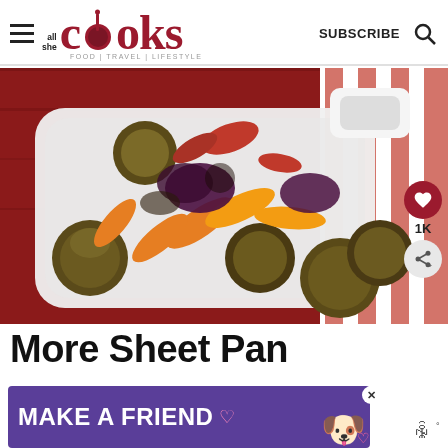all she cooks FOOD | TRAVEL | LIFESTYLE — SUBSCRIBE
[Figure (photo): Roasted vegetables including Brussels sprouts, colorful bell peppers, and red onion in a white baking dish on a red wooden background with striped cloth]
More Sheet Pan
[Figure (other): Ad banner: MAKE A FRIEND with dog image on purple background]